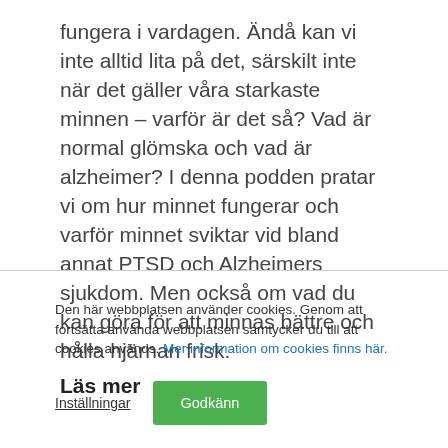fungera i vardagen. Ändå kan vi inte alltid lita på det, särskilt inte när det gäller våra starkaste minnen – varför är det så? Vad är normal glömska och vad är alzheimer? I denna podden pratar vi om hur minnet fungerar och varför minnet sviktar vid bland annat PTSD och Alzheimers sjukdom. Men också om vad du kan göra för att minnas bättre och hålla hjärnan frisk.
Läs mer
Den här webbplatsen använder cookies. Genom att fortsätta använda webbplatsen samtycker du till att cookies används. Mer information om cookies finns här.
Inställningar
Godkänn